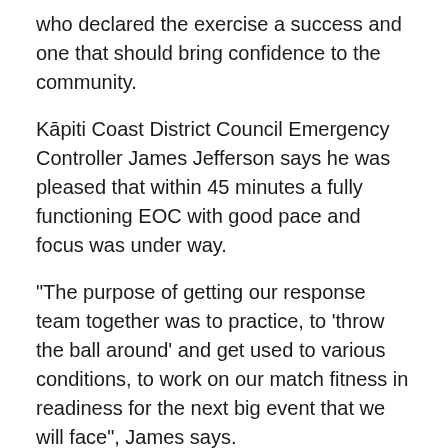who declared the exercise a success and one that should bring confidence to the community.
Kāpiti Coast District Council Emergency Controller James Jefferson says he was pleased that within 45 minutes a fully functioning EOC with good pace and focus was under way.
“The purpose of getting our response team together was to practice, to ‘throw the ball around’ and get used to various conditions, to work on our match fitness in readiness for the next big event that we will face”, James says.
He also says that it’s a good time now for everyone to reflect on their own readiness.
“With the holidays getting nearer there’s likely to be more travel and a higher likelihood of complacency setting in.
“It’s really important that people keep up the COVID